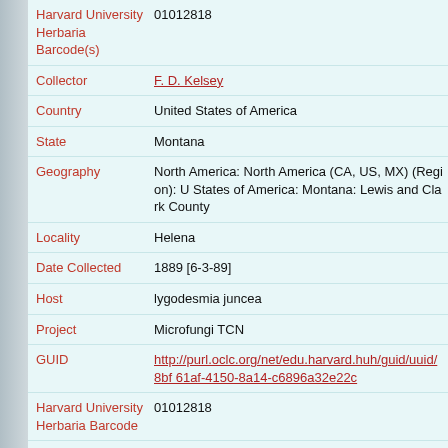| Field | Value |
| --- | --- |
| Harvard University Herbaria Barcode(s) | 01012818 |
| Collector | F. D. Kelsey |
| Country | United States of America |
| State | Montana |
| Geography | North America: North America (CA, US, MX) (Region): United States of America: Montana: Lewis and Clark County |
| Locality | Helena |
| Date Collected | 1889 [6-3-89] |
| Host | lygodesmia juncea |
| Project | Microfungi TCN |
| GUID | http://purl.oclc.org/net/edu.harvard.huh/guid/uuid/8bf...-61af-4150-8a14-c6896a32e22c |
| Harvard University Herbaria Barcode | 01012818 |
| Herbarium | FH |
| Previous ownership | ex From the Herbarium of Columbia College. Collected by the Late Dr. Fred. W. Anderson, Presented by Rev. J... |